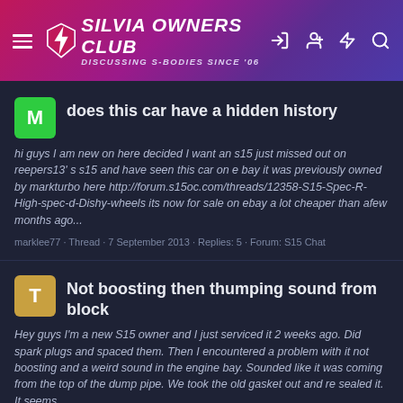SILVIA OWNERS CLUB — Discussing S-Bodies Since '06
does this car have a hidden history
hi guys I am new on here decided I want an s15 just missed out on reepers13' s s15 and have seen this car on e bay it was previously owned by markturbo here http://forum.s15oc.com/threads/12358-S15-Spec-R-High-spec-d-Dishy-wheels its now for sale on ebay a lot cheaper than afew months ago...
marklee77 · Thread · 7 September 2013 · Replies: 5 · Forum: S15 Chat
Not boosting then thumping sound from block
Hey guys I'm a new S15 owner and I just serviced it 2 weeks ago. Did spark plugs and spaced them. Then I encountered a problem with it not boosting and a weird sound in the engine bay. Sounded like it was coming from the top of the dump pipe. We took the old gasket out and re sealed it. It seems...
Tao · Thread · 5 August 2012 · Replies: 0 · Forum: S15 Chat